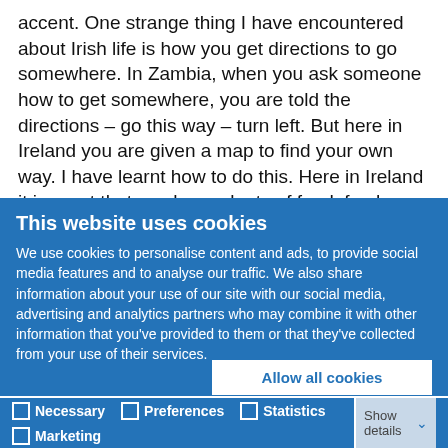accent. One strange thing I have encountered about Irish life is how you get directions to go somewhere. In Zambia, when you ask someone how to get somewhere, you are told the directions – go this way – turn left. But here in Ireland you are given a map to find your own way. I have learnt how to do this. Here in Ireland it is great that you have plenty of food; fresh vegetables, fresh fruits and great hospitality, despite the weather being unfriendly. The learning style here is also different. Here we are using independent thinking, you
This website uses cookies
We use cookies to personalise content and ads, to provide social media features and to analyse our traffic. We also share information about your use of our site with our social media, advertising and analytics partners who may combine it with other information that you've provided to them or that they've collected from your use of their services.
Allow all cookies
Allow selection
Use necessary cookies only
Necessary  Preferences  Statistics  Marketing  Show details